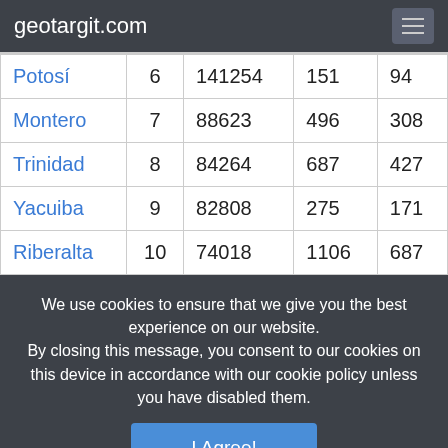geotargit.com
| Potosí | 6 | 141254 | 151 | 94 |
| Montero | 7 | 88623 | 496 | 308 |
| Trinidad | 8 | 84264 | 687 | 427 |
| Yacuiba | 9 | 82808 | 275 | 171 |
| Riberalta | 10 | 74018 | 1106 | 687 |
We use cookies to ensure that we give you the best experience on our website. By closing this message, you consent to our cookies on this device in accordance with our cookie policy unless you have disabled them.
I Agree!